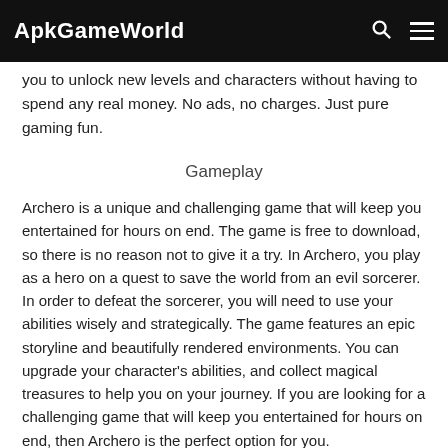ApkGameWorld
you to unlock new levels and characters without having to spend any real money. No ads, no charges. Just pure gaming fun.
Gameplay
Archero is a unique and challenging game that will keep you entertained for hours on end. The game is free to download, so there is no reason not to give it a try. In Archero, you play as a hero on a quest to save the world from an evil sorcerer. In order to defeat the sorcerer, you will need to use your abilities wisely and strategically. The game features an epic storyline and beautifully rendered environments. You can upgrade your character's abilities, and collect magical treasures to help you on your journey. If you are looking for a challenging game that will keep you entertained for hours on end, then Archero is the perfect option for you.
How to get Archero?